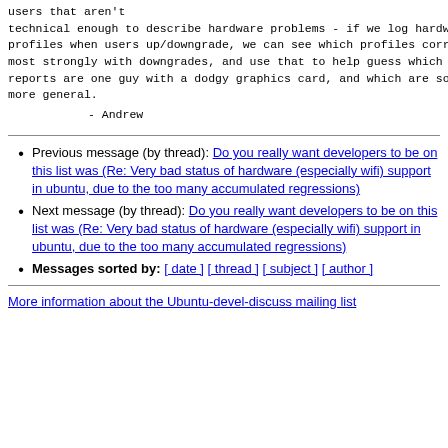users that aren't
technical enough to describe hardware problems - if we log hardware
profiles when users up/downgrade, we can see which profiles correlate
most strongly with downgrades, and use that to help guess which bug
reports are one guy with a dodgy graphics card, and which are something
more general.

        - Andrew
Previous message (by thread): Do you really want developers to be on this list was (Re: Very bad status of hardware (especially wifi) support in ubuntu, due to the too many accumulated regressions)
Next message (by thread): Do you really want developers to be on this list was (Re: Very bad status of hardware (especially wifi) support in ubuntu, due to the too many accumulated regressions)
Messages sorted by: [ date ] [ thread ] [ subject ] [ author ]
More information about the Ubuntu-devel-discuss mailing list